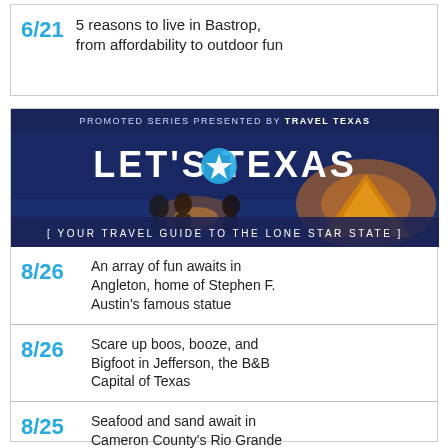6/21 — 5 reasons to live in Bastrop, from affordability to outdoor fun
[Figure (illustration): Promoted series banner: 'LET'S TEXAS — YOUR TRAVEL GUIDE TO THE LONE STAR STATE' presented by TRAVEL TEXAS. Shows people around a campfire and a tent at sunset.]
8/26 — An array of fun awaits in Angleton, home of Stephen F. Austin's famous statue
8/26 — Scare up boos, booze, and Bigfoot in Jefferson, the B&B Capital of Texas
8/25 — Seafood and sand await in Cameron County's Rio Grande Valley